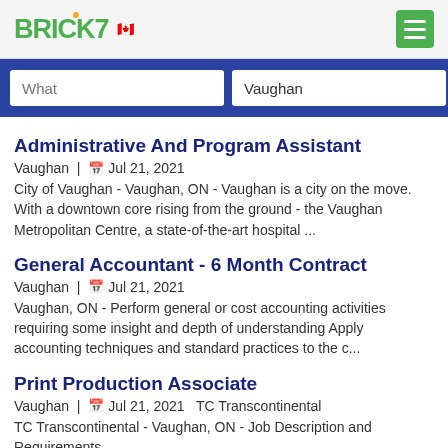BRICK7 [Canadian flag]
What | Vaughan [search]
Administrative And Program Assistant
Vaughan | Jul 21, 2021
City of Vaughan - Vaughan, ON - Vaughan is a city on the move. With a downtown core rising from the ground - the Vaughan Metropolitan Centre, a state-of-the-art hospital ...
General Accountant - 6 Month Contract
Vaughan | Jul 21, 2021
Vaughan, ON - Perform general or cost accounting activities requiring some insight and depth of understanding Apply accounting techniques and standard practices to the c...
Print Production Associate
Vaughan | Jul 21, 2021  TC Transcontinental
TC Transcontinental - Vaughan, ON - Job Description and Requirements